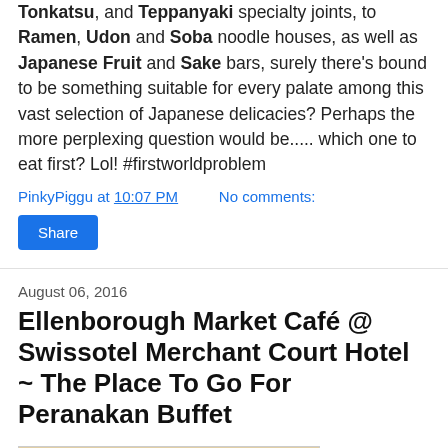Tonkatsu, and Teppanyaki specialty joints, to Ramen, Udon and Soba noodle houses, as well as Japanese Fruit and Sake bars, surely there's bound to be something suitable for every palate among this vast selection of Japanese delicacies? Perhaps the more perplexing question would be..... which one to eat first? Lol! #firstworldproblem
PinkyPiggu at 10:07 PM    No comments:
Share
August 06, 2016
Ellenborough Market Café @ Swissotel Merchant Court Hotel ~ The Place To Go For Peranakan Buffet
[Figure (photo): Photo of a spread of Peranakan food dishes on a table, showing various plates and bowls with colorful food items.]